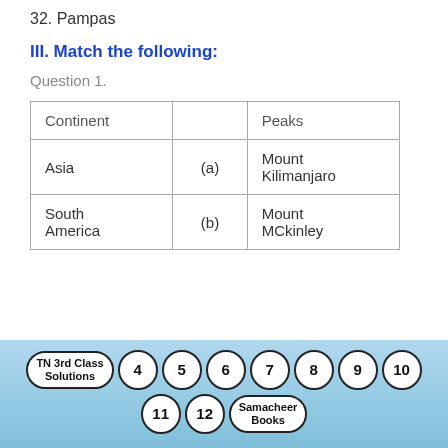32. Pampas
III. Match the following:
Question 1.
| Continent |  | Peaks |
| --- | --- | --- |
| Asia | (a) | Mount Kilimanjaro |
| South America | (b) | Mount MCkinley |
TN 3rd Class Solutions  4  5  6  7  8  9  10  11  12  Samacheer Books